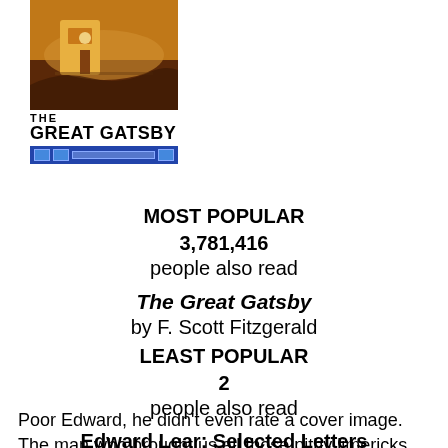[Figure (illustration): Book cover image for The Great Gatsby with orange/brown scene illustration, bold title text, and blue media player controls bar]
MOST POPULAR
3,781,416
people also read
The Great Gatsby
by F. Scott Fitzgerald
LEAST POPULAR
2
people also read
Edward Lear: Selected Letters
by Edward Lear
Poor Edward, he didn’t even rate a cover image. The man who brought us all those pithy limericks and nonsense